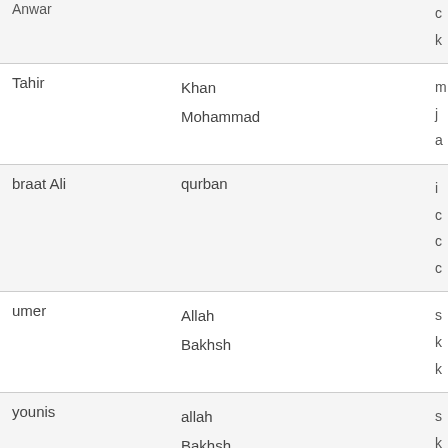| Anwar |  | c
k |
| Tahir | Khan
Mohammad | m
j
a |
| braat Ali | qurban | i
c
c
c |
| umer | Allah
Bakhsh | s
k
k |
| younis | allah
Bakhsh | s
k
k |